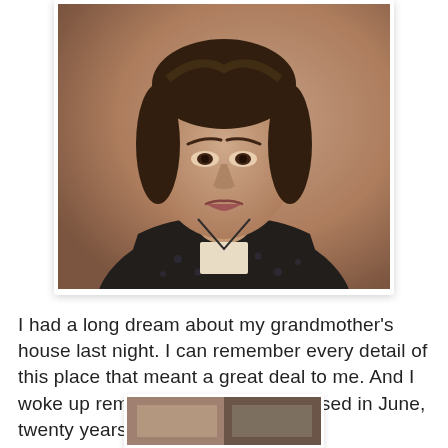[Figure (photo): Vintage sepia-toned portrait photograph of a young woman with short dark hair, wearing a dark polka-dot top with a light-colored label/tag on the chest. Studio portrait style, mid-20th century.]
I had a long dream about my grandmother's house last night. I can remember every detail of this place that meant a great deal to me. And I woke up remembering that she passed in June, twenty years ago now.
[Figure (photo): Partial view of another vintage photograph, cropped at bottom of page.]